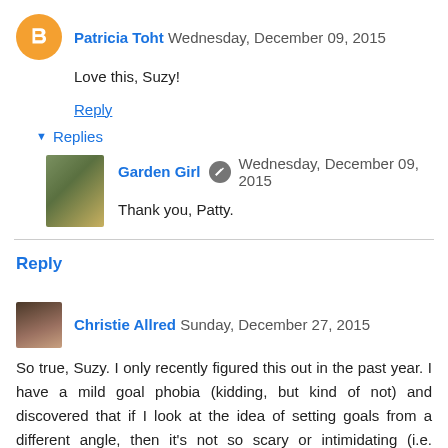Patricia Toht Wednesday, December 09, 2015
Love this, Suzy!
Reply
Replies
Garden Girl Wednesday, December 09, 2015
Thank you, Patty.
Reply
Christie Allred Sunday, December 27, 2015
So true, Suzy. I only recently figured this out in the past year. I have a mild goal phobia (kidding, but kind of not) and discovered that if I look at the idea of setting goals from a different angle, then it's not so scary or intimidating (i.e. Schedule specific writing tasks in my personal planner, which is literally the same thing as setting small, attainable